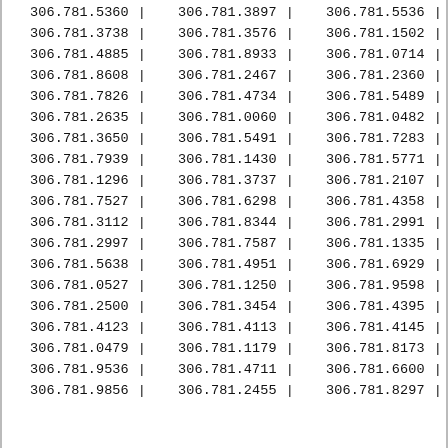| col1 | col2 | col3 |
| --- | --- | --- |
| 306.781.5360 | 306.781.3897 | 306.781.5536 |
| 306.781.3738 | 306.781.3576 | 306.781.1502 |
| 306.781.4885 | 306.781.8933 | 306.781.0714 |
| 306.781.8608 | 306.781.2467 | 306.781.2360 |
| 306.781.7826 | 306.781.4734 | 306.781.5489 |
| 306.781.2635 | 306.781.0060 | 306.781.0482 |
| 306.781.3650 | 306.781.5491 | 306.781.7283 |
| 306.781.7939 | 306.781.1430 | 306.781.5771 |
| 306.781.1296 | 306.781.3737 | 306.781.2107 |
| 306.781.7527 | 306.781.6298 | 306.781.4358 |
| 306.781.3112 | 306.781.8344 | 306.781.2991 |
| 306.781.2997 | 306.781.7587 | 306.781.1335 |
| 306.781.5638 | 306.781.4951 | 306.781.6929 |
| 306.781.0527 | 306.781.1250 | 306.781.9598 |
| 306.781.2500 | 306.781.3454 | 306.781.4395 |
| 306.781.4123 | 306.781.4113 | 306.781.4145 |
| 306.781.0479 | 306.781.1179 | 306.781.8173 |
| 306.781.9536 | 306.781.4711 | 306.781.6600 |
| 306.781.9856 | 306.781.2455 | 306.781.8297 |